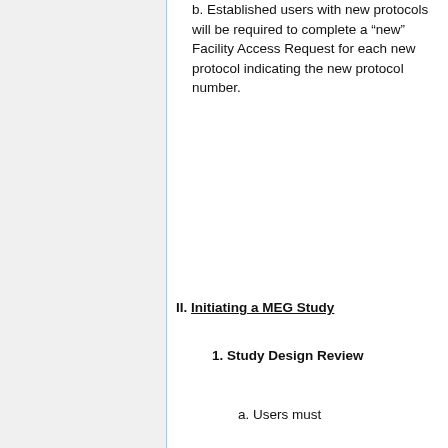b. Established users with new protocols will be required to complete a “new” Facility Access Request for each new protocol indicating the new protocol number.
II. Initiating a MEG Study
1. Study Design Review
a. Users must